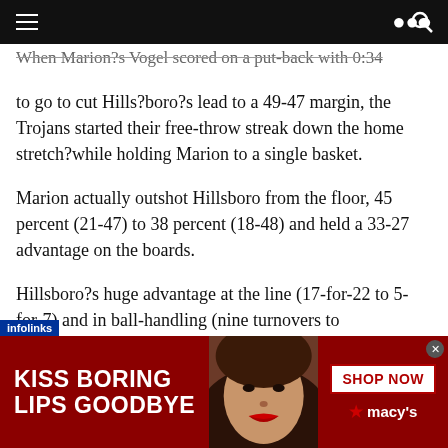Navigation bar with hamburger menu and search icon
When Marion?s Vogel scored on a put-back with 0:34 to go to cut Hills?boro?s lead to a 49-47 margin, the Trojans started their free-throw streak down the home stretch?while holding Marion to a single basket.
Marion actually outshot Hillsboro from the floor, 45 percent (21-47) to 38 percent (18-48) and held a 33-27 advantage on the boards.
Hillsboro?s huge advantage at the line (17-for-22 to 5-for-7) and in ball-handling (nine turnovers to ?s 17) proved to be the difference.
[Figure (infographic): Advertisement banner for Macy's cosmetics: red background with 'KISS BORING LIPS GOODBYE' text on left, woman's face with red lips in center, 'SHOP NOW' button and Macy's star logo on right. Infolinks label at bottom left corner.]